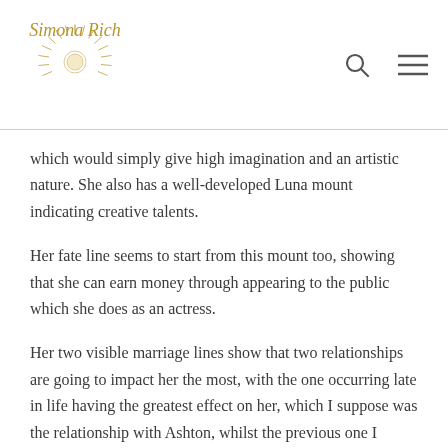Simona Rich
which would simply give high imagination and an artistic nature. She also has a well-developed Luna mount indicating creative talents.
Her fate line seems to start from this mount too, showing that she can earn money through appearing to the public which she does as an actress.
Her two visible marriage lines show that two relationships are going to impact her the most, with the one occurring late in life having the greatest effect on her, which I suppose was the relationship with Ashton, whilst the previous one I assume to be of the relationship with Bruce Willis.